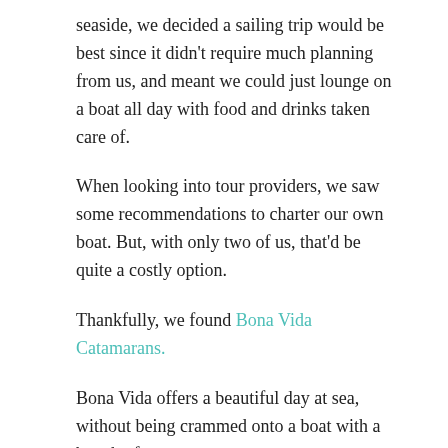seaside, we decided a sailing trip would be best since it didn't require much planning from us, and meant we could just lounge on a boat all day with food and drinks taken care of.
When looking into tour providers, we saw some recommendations to charter our own boat. But, with only two of us, that'd be quite a costly option.
Thankfully, we found Bona Vida Catamarans.
Bona Vida offers a beautiful day at sea, without being crammed onto a boat with a bunch of strangers.
The catamaran sails to the Islas Rosario, an archipelago of 27 coral rich islands, part of Colombia's most important national park. Each of the islands are beautiful and diverse in their own way, and have something to offer for everyone.